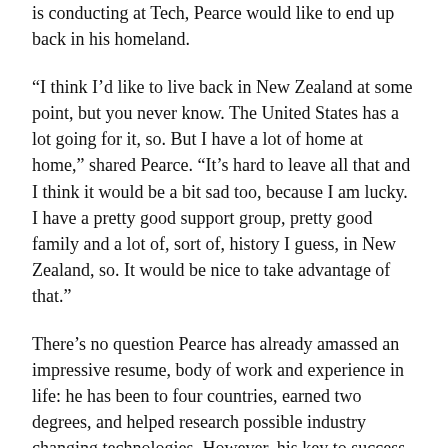is conducting at Tech, Pearce would like to end up back in his homeland.
“I think I’d like to live back in New Zealand at some point, but you never know. The United States has a lot going for it, so. But I have a lot of home at home,” shared Pearce. “It’s hard to leave all that and I think it would be a bit sad too, because I am lucky. I have a pretty good support group, pretty good family and a lot of, sort of, history I guess, in New Zealand, so. It would be nice to take advantage of that.”
There’s no question Pearce has already amassed an impressive resume, body of work and experience in life: he has been to four countries, earned two degrees, and helped research possible industry changing technologies. However, his key to success is quite simple.
“So, I noticed a lot of people, including me, especially me,